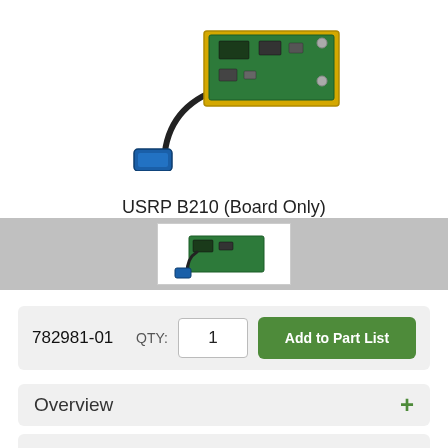[Figure (photo): USRP B210 circuit board with USB 3.0 cable attached, shown from above on white background]
USRP B210 (Board Only)
[Figure (photo): Small thumbnail of USRP B210 board with USB cable on white background]
782981-01
QTY: 1
Add to Part List
Overview
Features